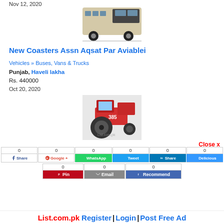Nov 12, 2020
[Figure (photo): White/beige bus parked outdoors]
New Coasters Assn Aqsat Par Aviablei
Vehicles » Buses, Vans & Trucks
Punjab, Haveli lakha
Rs. 440000
Oct 20, 2020
[Figure (photo): Red tractor (385) in field]
Close x
0  Share  0  Google +  0  WhatsApp  0  Tweet  0  Share  0  Delicious
0  Pin  0  Email  0  Recommend
List.com.pk Register | Login | Post Free Ad
Punjab, Haveli lakha